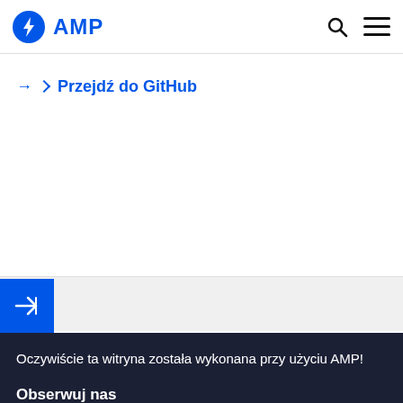AMP
→ Przejdź do GitHub
[Figure (other): Blue square navigation button with right-arrow icon]
Oczywiście ta witryna została wykonana przy użyciu AMP!
Obserwuj nas
[Figure (other): Social media icons row: Twitter, YouTube, WordPress, GitHub, Stack Overflow]